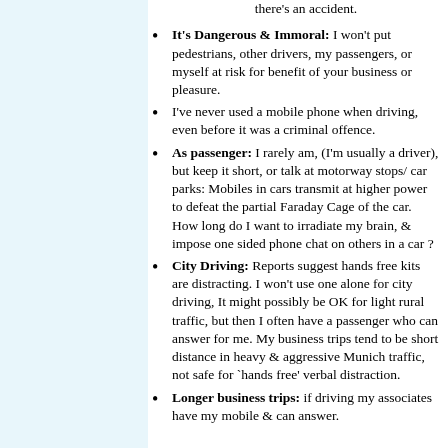there's an accident.
It's Dangerous & Immoral: I won't put pedestrians, other drivers, my passengers, or myself at risk for benefit of your business or pleasure.
I've never used a mobile phone when driving, even before it was a criminal offence.
As passenger: I rarely am, (I'm usually a driver), but keep it short, or talk at motorway stops/ car parks: Mobiles in cars transmit at higher power to defeat the partial Faraday Cage of the car. How long do I want to irradiate my brain, & impose one sided phone chat on others in a car ?
City Driving: Reports suggest hands free kits are distracting. I won't use one alone for city driving, It might possibly be OK for light rural traffic, but then I often have a passenger who can answer for me. My business trips tend to be short distance in heavy & aggressive Munich traffic, not safe for `hands free' verbal distraction.
Longer business trips: if driving my associates have my mobile & can answer.